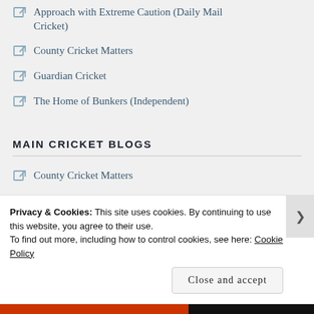Approach with Extreme Caution (Daily Mail Cricket)
County Cricket Matters
Guardian Cricket
The Home of Bunkers (Independent)
MAIN CRICKET BLOGS
County Cricket Matters
Dennis Does Cricket
Privacy & Cookies: This site uses cookies. By continuing to use this website, you agree to their use.
To find out more, including how to control cookies, see here: Cookie Policy
Close and accept